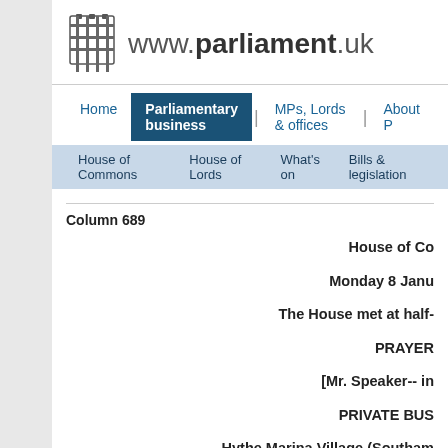www.parliament.uk
Home | Parliamentary business | MPs, Lords & offices | About ...
House of Commons | House of Lords | What's on | Bills & legislation
Column 689
House of Co...
Monday 8 Janu...
The House met at half-...
PRAYER...
[Mr. Speaker-- in ...
PRIVATE BUS...
Hythe Marina Village (Southam...